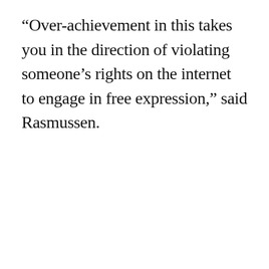“Over-achievement in this takes you in the direction of violating someone’s rights on the internet to engage in free expression,” said Rasmussen.